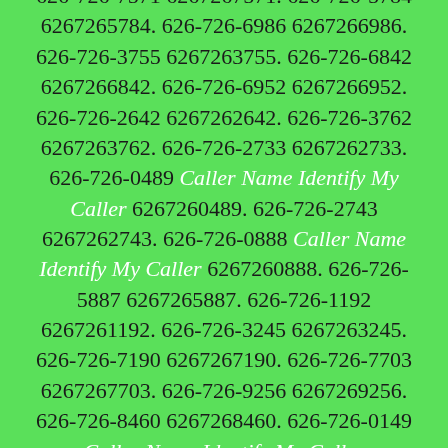626-726-7046 6267267046. 626-726-9590 6267269590. 626-726-6163 6267266163. 626-726-7571 6267267571. 626-726-5784 6267265784. 626-726-6986 6267266986. 626-726-3755 6267263755. 626-726-6842 6267266842. 626-726-6952 6267266952. 626-726-2642 6267262642. 626-726-3762 6267263762. 626-726-2733 6267262733. 626-726-0489 Caller Name Identify My Caller 6267260489. 626-726-2743 6267262743. 626-726-0888 Caller Name Identify My Caller 6267260888. 626-726-5887 6267265887. 626-726-1192 6267261192. 626-726-3245 6267263245. 626-726-7190 6267267190. 626-726-7703 6267267703. 626-726-9256 6267269256. 626-726-8460 6267268460. 626-726-0149 Caller Name Identify My Caller 6267260149. 626-726-3048 6267263048. 626-726-1217 6267261217. 626-726-4571